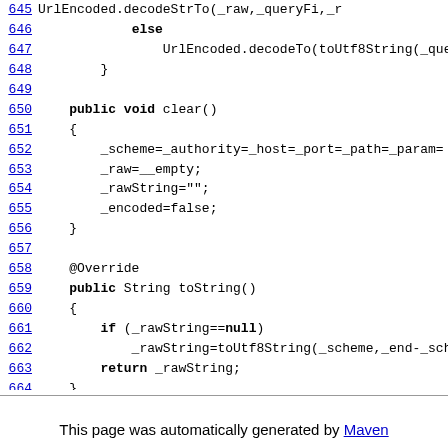[Figure (screenshot): Source code listing showing Java methods: lines 645-671 of a class, including else block with UrlEncoded.decodeTo, clear() method, toString() override, and writeTo(Utf8StringBuilder buf) method. Line numbers are hyperlinked in blue on the left.]
This page was automatically generated by Maven